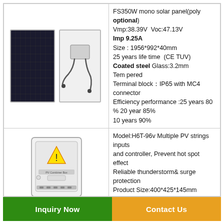[Figure (photo): Two solar panels shown - front view (black monocrystalline panel with grid lines) and back view (white panel with junction box and cables)]
FS350W mono solar panel(poly optional)
Vmp:38.39V  Voc:47.13V
Imp 9.25A
Size : 1956*992*40mm
25 years life time  (CE TUV)
Coated steel Glass:3.2mm Tem pered
Terminal block：IP65 with MC4 connector
Efficiency performance :25 years 80 % 20 year 85%
10 years 90%
[Figure (photo): White rectangular electrical box/combiner box with a yellow warning triangle sticker, buttons and ports on front]
Model:H6T-96v Multiple PV strings inputs
and controller, Prevent hot spot effect
Reliable thunderstorm& surge protection
Product Size:400*425*145mm
Inquiry Now   Contact Us